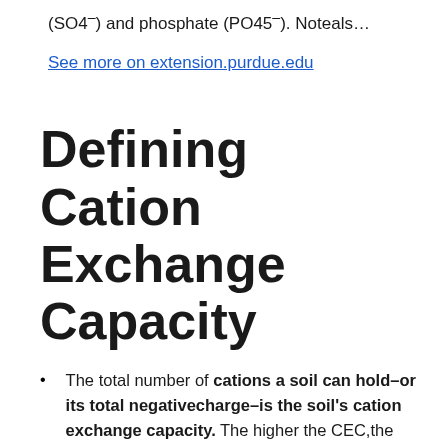(SO4⁻) and phosphate (PO45⁻). Noteals…
See more on extension.purdue.edu
Defining Cation Exchange Capacity
The total number of cations a soil can hold–or its total negativecharge–is the soil’s cation exchange capacity. The higher the CEC,the higher the negative charge and the more cations that can be held. CEC is measured in millequivalents per 100 grams of soil (meq/100g).A meq is